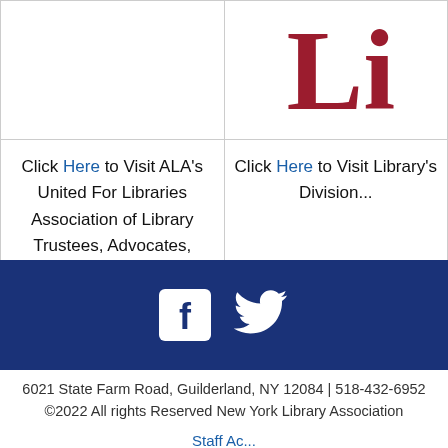| (logo/image area) | Li... |
| Click Here to Visit ALA's United For Libraries Association of Library Trustees, Advocates, Friends, and Foundations | Click Here to Visit Library's Division... |
[Figure (logo): White Facebook icon and white Twitter bird icon on dark navy blue banner]
6021 State Farm Road, Guilderland, NY 12084 | 518-432-6952 ©2022 All rights Reserved New York Library Association
Staff Access